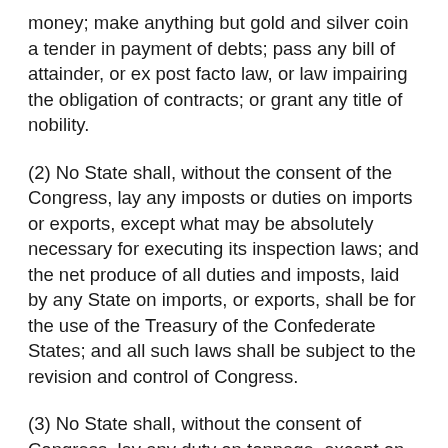money; make anything but gold and silver coin a tender in payment of debts; pass any bill of attainder, or ex post facto law, or law impairing the obligation of contracts; or grant any title of nobility.
(2) No State shall, without the consent of the Congress, lay any imposts or duties on imports or exports, except what may be absolutely necessary for executing its inspection laws; and the net produce of all duties and imposts, laid by any State on imports, or exports, shall be for the use of the Treasury of the Confederate States; and all such laws shall be subject to the revision and control of Congress.
(3) No State shall, without the consent of Congress, lay any duty on tonnage, except on seagoing vessels, for the improvement of its rivers and harbors navigated by the said vessels; but such duties shall not conflict with any treaties of the Confederate States with foreign nations; and any surplus revenue thus derived shall, after making such improvement, be paid into the common treasury. Nor shall any State keep troops or ships of war in time of peace, enter into any agreement or compact with another State, or with a foreign